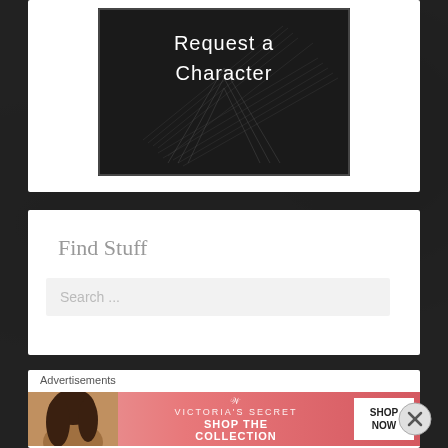[Figure (illustration): Dark themed image with text 'Request a Character' in white on a black chalkboard-style background with geometric line patterns]
Find Stuff
Search ...
Advertisements
[Figure (photo): Victoria's Secret advertisement banner with a model, VS logo, text 'SHOP THE COLLECTION', and a 'SHOP NOW' button on a pink/red background]